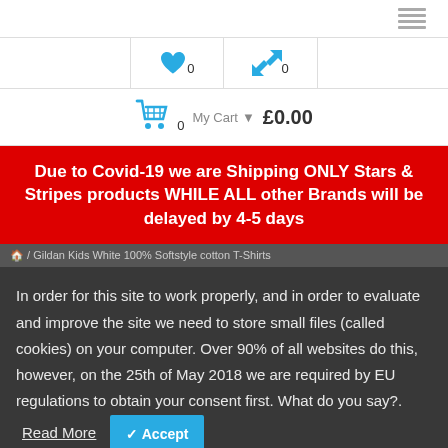[Figure (screenshot): List/menu icon (hamburger icon) in grey]
[Figure (screenshot): Heart (wishlist) icon in blue with count 0, and arrows (compare) icon in blue with count 0]
[Figure (screenshot): Shopping cart icon in blue showing My Cart 0 items £0.00]
Due to Covid-19 we are Shipping ONLY Stars & Stripes products WHILE ALL other Brands will be delayed by 4-5 days
/ Gildan Kids White 100% Softstyle cotton T-Shirts
In order for this site to work properly, and in order to evaluate and improve the site we need to store small files (called cookies) on your computer. Over 90% of all websites do this, however, on the 25th of May 2018 we are required by EU regulations to obtain your consent first. What do you say?.
Read More
✓ Accept